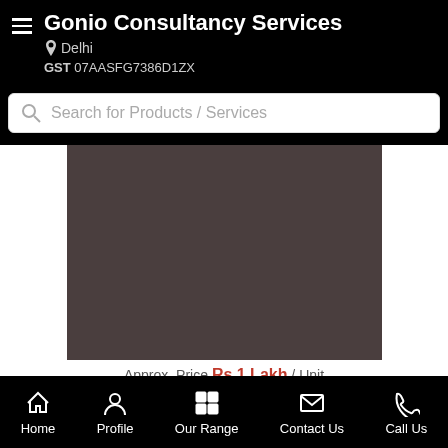Gonio Consultancy Services — Delhi — GST 07AASFG7386D1ZX
Search for Products / Services
[Figure (photo): Large dark brownish-grey product image placeholder area]
Approx. Price Rs 1 Lakh / Unit
Home | Profile | Our Range | Contact Us | Call Us